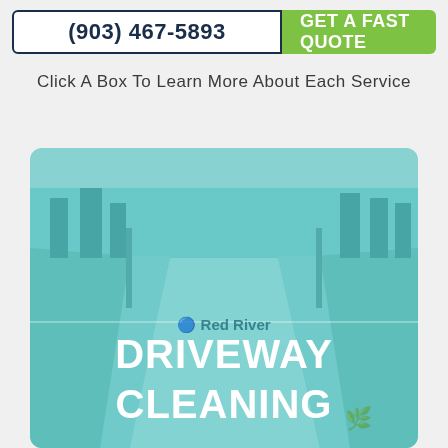(903) 467-5893
GET A FAST QUOTE
Click A Box To Learn More About Each Service
[Figure (photo): Teal-overlaid photo of a clean concrete driveway viewed from street level, flanked by lawn areas. A Red River watermark logo appears in the center. The text DRIVEWAY CLEANING is overlaid in large white bold letters at the bottom.]